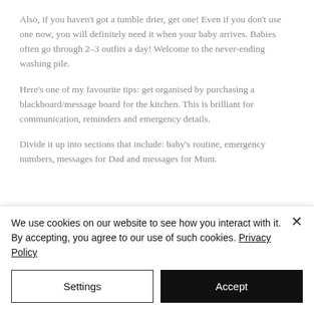Also, if you haven't got a tumble drier, get one! Even if you don't use one now, you will definitely need it when your baby arrives. Babies often go through 2–3 outfits a day! Welcome to the never-ending washing pile.
Here's one of my favourite tips: get organised by purchasing a blackboard/message board for the kitchen. This is brilliant for communication, reminders and emergency details.
Divide it up into sections that include: baby's routine, emergency numbers, messages for Dad and messages for Mum.
We use cookies on our website to see how you interact with it. By accepting, you agree to our use of such cookies. Privacy Policy